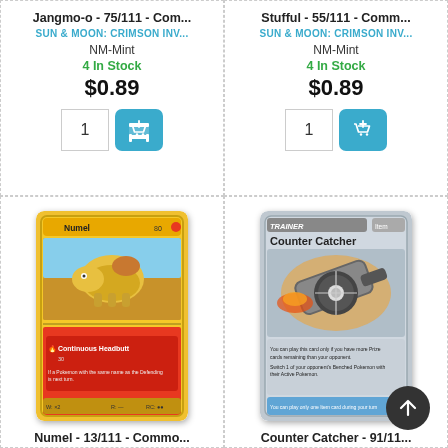Jangmo-o - 75/111 - Com...
SUN & MOON: CRIMSON INV...
NM-Mint
4 In Stock
$0.89
Stufful - 55/111 - Comm...
SUN & MOON: CRIMSON INV...
NM-Mint
4 In Stock
$0.89
[Figure (photo): Numel Pokemon card 13/111 Common from Sun & Moon Crimson Invasion set, showing Numel with Continuous Headbutt attack]
Numel - 13/111 - Commo...
[Figure (photo): Counter Catcher Trainer card 91/111 from Sun & Moon Crimson Invasion set]
Counter Catcher - 91/11...